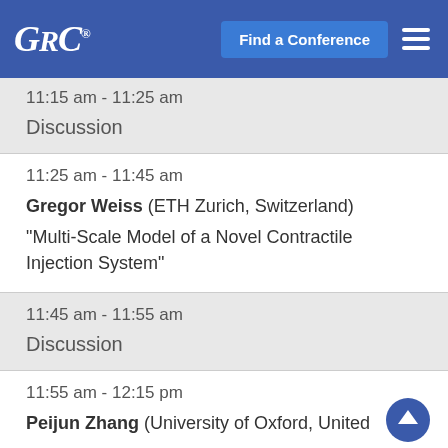GRC® | Find a Conference
11:15 am - 11:25 am
Discussion
11:25 am - 11:45 am
Gregor Weiss (ETH Zurich, Switzerland) "Multi-Scale Model of a Novel Contractile Injection System"
11:45 am - 11:55 am
Discussion
11:55 am - 12:15 pm
Peijun Zhang (University of Oxford, United